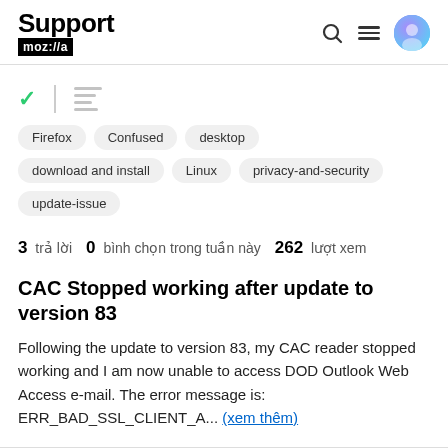Support mozilla // [search] [menu] [avatar]
✓ | |||\
Firefox   Confused   desktop
download and install   Linux   privacy-and-security
update-issue
3 trả lời  0 bình chọn trong tuần này  262 lượt xem
CAC Stopped working after update to version 83
Following the update to version 83, my CAC reader stopped working and I am now unable to access DOD Outlook Web Access e-mail. The error message is: ERR_BAD_SSL_CLIENT_A... (xem thêm)